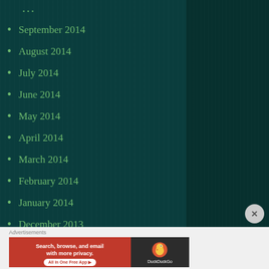September 2014
August 2014
July 2014
June 2014
May 2014
April 2014
March 2014
February 2014
January 2014
December 2013
November 2013
October 2013
[Figure (screenshot): DuckDuckGo advertisement banner: 'Search, browse, and email with more privacy. All in One Free App' with DuckDuckGo logo on dark background]